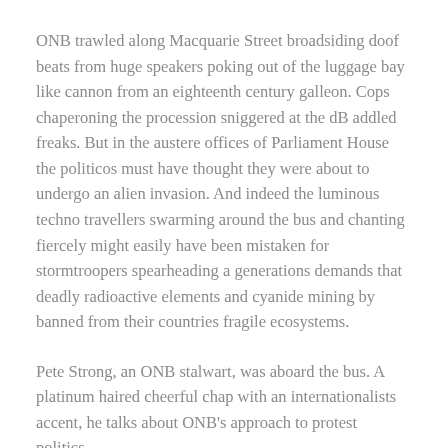ONB trawled along Macquarie Street broadsiding doof beats from huge speakers poking out of the luggage bay like cannon from an eighteenth century galleon. Cops chaperoning the procession sniggered at the dB addled freaks. But in the austere offices of Parliament House the politicos must have thought they were about to undergo an alien invasion. And indeed the luminous techno travellers swarming around the bus and chanting fiercely might easily have been mistaken for stormtroopers spearheading a generations demands that deadly radioactive elements and cyanide mining by banned from their countries fragile ecosystems.
Pete Strong, an ONB stalwart, was aboard the bus. A platinum haired cheerful chap with an internationalists accent, he talks about ONB's approach to protest politics.